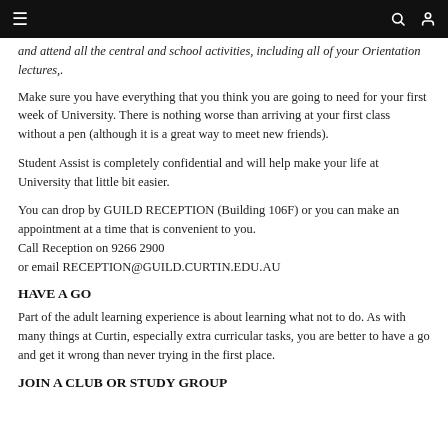≡   🔍 👤
and attend all the central and school activities, including all of your Orientation lectures,.
Make sure you have everything that you think you are going to need for your first week of University. There is nothing worse than arriving at your first class without a pen (although it is a great way to meet new friends).
Student Assist is completely confidential and will help make your life at University that little bit easier.
You can drop by GUILD RECEPTION (Building 106F) or you can make an appointment at a time that is convenient to you.
Call Reception on 9266 2900
or email RECEPTION@GUILD.CURTIN.EDU.AU
HAVE A GO
Part of the adult learning experience is about learning what not to do. As with many things at Curtin, especially extra curricular tasks, you are better to have a go and get it wrong than never trying in the first place.
JOIN A CLUB OR STUDY GROUP